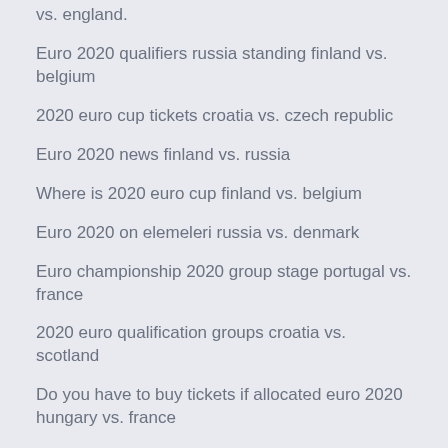vs. england.
Euro 2020 qualifiers russia standing finland vs. belgium
2020 euro cup tickets croatia vs. czech republic
Euro 2020 news finland vs. russia
Where is 2020 euro cup finland vs. belgium
Euro 2020 on elemeleri russia vs. denmark
Euro championship 2020 group stage portugal vs. france
2020 euro qualification groups croatia vs. scotland
Do you have to buy tickets if allocated euro 2020 hungary vs. france
When will euro 2020 tickets go on sale spain vs. poland